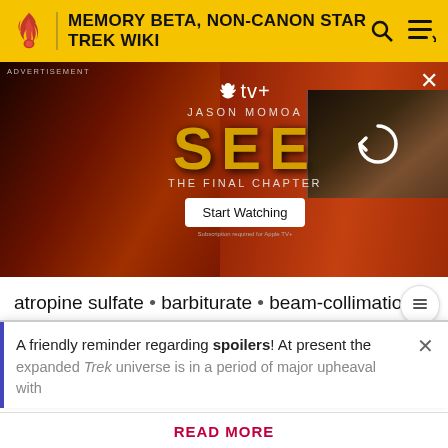MEMORY BETA, NON-CANON STAR TREK WIKI
[Figure (photo): Advertisement banner for Apple TV+ show 'SEE' starring Jason Momoa - The Final Chapter, with Start Watching button and video thumbnail with refresh icon]
atropine sulfate • barbiturate • beam-collimation • communicator • computer • cultural anthropology • dark matter • elevator • Cephalic Security helmet • DNA • drydock • guitar • holographic artist • holography • holo-statue • incinerator • limbic system • lenton • magnetic
A friendly reminder regarding spoilers! At present the expanded Trek universe is in a period of major upheaval with
READ MORE